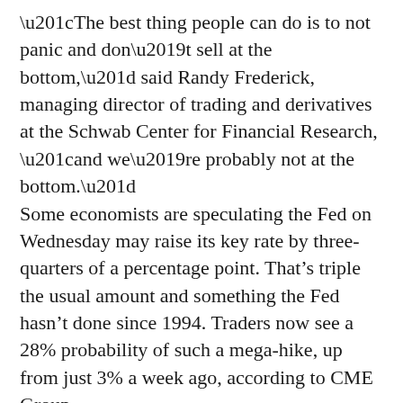“The best thing people can do is to not panic and don’t sell at the bottom,” said Randy Frederick, managing director of trading and derivatives at the Schwab Center for Financial Research, “and we’re probably not at the bottom.”
Some economists are speculating the Fed on Wednesday may raise its key rate by three-quarters of a percentage point. That’s triple the usual amount and something the Fed hasn’t done since 1994. Traders now see a 28% probability of such a mega-hike, up from just 3% a week ago, according to CME Group.
Advertisement
No one thinks the Fed will stop there, with markets bracing for a continued series of bigger-than-usual hikes. Those would come on top of some discouraging signals about the economy and corporate profits, including a record-low preliminary reading on consumer sentiment soured by high gasoline prices.